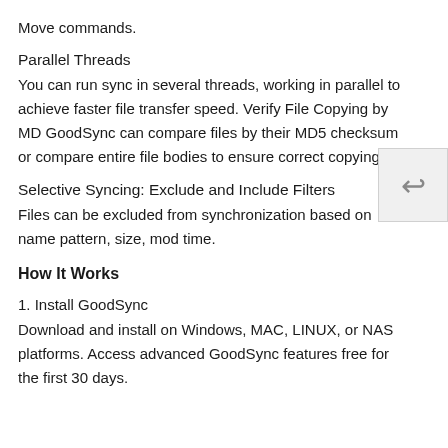Move commands.
Parallel Threads
You can run sync in several threads, working in parallel to achieve faster file transfer speed. Verify File Copying by MD GoodSync can compare files by their MD5 checksum or compare entire file bodies to ensure correct copying.
Selective Syncing: Exclude and Include Filters
Files can be excluded from synchronization based on name pattern, size, mod time.
How It Works
1. Install GoodSync
Download and install on Windows, MAC, LINUX, or NAS platforms. Access advanced GoodSync features free for the first 30 days.